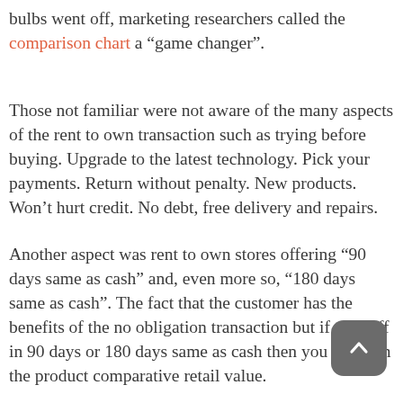bulbs went off, marketing researchers called the comparison chart a “game changer”.
Those not familiar were not aware of the many aspects of the rent to own transaction such as trying before buying. Upgrade to the latest technology. Pick your payments. Return without penalty. New products. Won’t hurt credit. No debt, free delivery and repairs.
Another aspect was rent to own stores offering “90 days same as cash” and, even more so, “180 days same as cash”. The fact that the customer has the benefits of the no obligation transaction but if paid off in 90 days or 180 days same as cash then you can own the product comparative retail value.